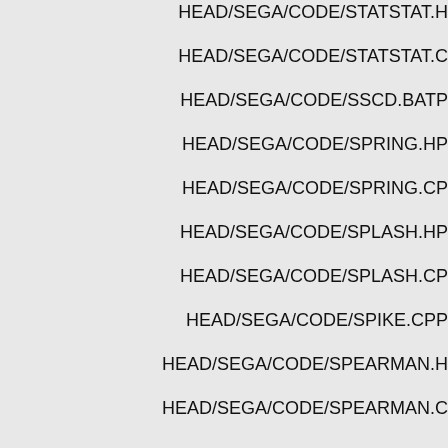HEAD/SEGA/CODE/STATSTAT.H
HEAD/SEGA/CODE/STATSTAT.C
HEAD/SEGA/CODE/SSCD.BATP
HEAD/SEGA/CODE/SPRING.HP
HEAD/SEGA/CODE/SPRING.CP
HEAD/SEGA/CODE/SPLASH.HP
HEAD/SEGA/CODE/SPLASH.CP
HEAD/SEGA/CODE/SPIKE.CPP
HEAD/SEGA/CODE/SPEARMAN.H
HEAD/SEGA/CODE/SPEARMAN.C
HEAD/SEGA/CODE/SPAWN.HP
HEAD/SEGA/CODE/SPAWN.CP
HEAD/SEGA/CODE/SOUND.HP
HEAD/SEGA/CODE/SNAKE.CP
HEAD/SEGA/CODE/SMITHEE.CP
HEAD/SEGA/CODE/SLOSHIFT.H
HEAD/SEGA/CODE/SLOSHIFT.C
HEAD/SEGA/CODE/SLOCYCLE.H
HEAD/SEGA/CODE/SLOCYCLE.C